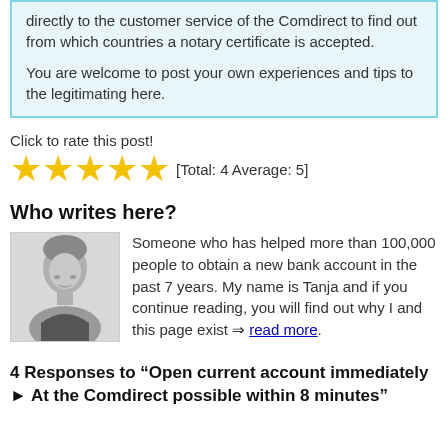directly to the customer service of the Comdirect to find out from which countries a notary certificate is accepted.

You are welcome to post your own experiences and tips to the legitimating here.
Click to rate this post!
[Figure (other): Five yellow star rating icons followed by text '[Total: 4 Average: 5]']
Who writes here?
[Figure (photo): Black and white portrait photo of a woman with short hair]
Someone who has helped more than 100,000 people to obtain a new bank account in the past 7 years. My name is Tanja and if you continue reading, you will find out why I and this page exist ⇒ read more.
4 Responses to “Open current account immediately ► At the Comdirect possible within 8 minutes”